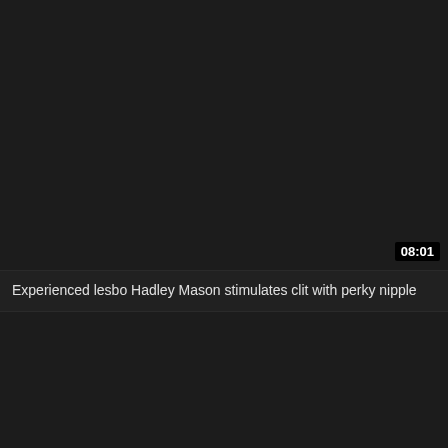[Figure (screenshot): Video thumbnail placeholder with dark background showing a video player interface]
08:01
Experienced lesbo Hadley Mason stimulates clit with perky nipple